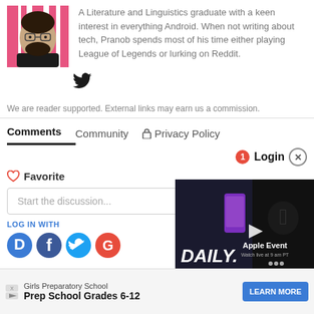[Figure (photo): Profile photo of a man with glasses and beard, pink/white striped background]
A Literature and Linguistics graduate with a keen interest in everything Android. When not writing about tech, Pranob spends most of his time either playing League of Legends or lurking on Reddit.
[Figure (logo): Twitter bird icon]
We are reader supported. External links may earn us a commission.
Comments   Community   🔒 Privacy Policy
1  Login  ⊗
🤍 Favorite
Start the discussion...
LOG IN WITH
[Figure (screenshot): Video thumbnail showing a man with Apple iPhone and Apple logo, text DAILY. and Apple Event]
[Figure (infographic): Ad banner: Girls Preparatory School - Prep School Grades 6-12 - LEARN MORE]